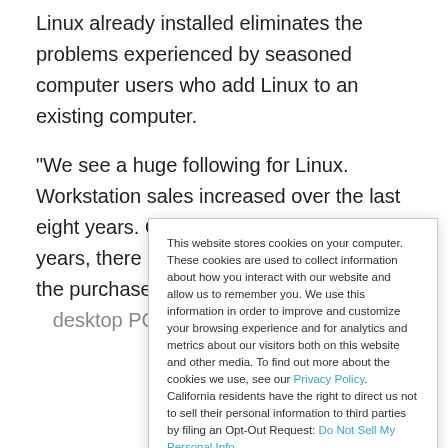Linux already installed eliminates the problems experienced by seasoned computer users who add Linux to an existing computer.
“We see a huge following for Linux. Workstation sales increased over the last eight years. Over the last two or three years, there has been a big increase in the purchase of [truncated]
This website stores cookies on your computer. These cookies are used to collect information about how you interact with our website and allow us to remember you. We use this information in order to improve and customize your browsing experience and for analytics and metrics about our visitors both on this website and other media. To find out more about the cookies we use, see our Privacy Policy. California residents have the right to direct us not to sell their personal information to third parties by filing an Opt-Out Request: Do Not Sell My Personal Info.
Accept